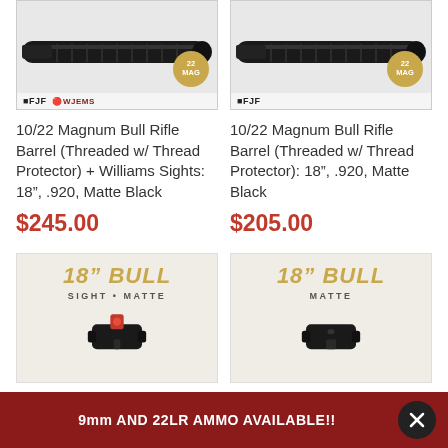[Figure (photo): 10/22 Magnum Bull Rifle Barrel with FJF and Williams logos, 22 MAG badge, left product]
10/22 Magnum Bull Rifle Barrel (Threaded w/ Thread Protector) + Williams Sights: 18", .920, Matte Black
$245.00
[Figure (photo): 10/22 Magnum Bull Rifle Barrel with FJF logo, 22 MAG badge, right product]
10/22 Magnum Bull Rifle Barrel (Threaded w/ Thread Protector): 18", .920, Matte Black
$205.00
[Figure (photo): 18" BULL SIGHT MATTE product image with red sight]
[Figure (photo): 18" BULL MATTE product image]
9mm AND 22LR AMMO AVAILABLE!!